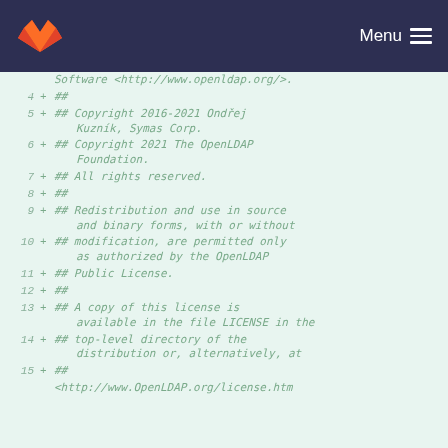GitLab logo | Menu
Software <http://www.openldap.org/>.
4  + ##
5  + ## Copyright 2016-2021 Ondřej Kuzník, Symas Corp.
6  + ## Copyright 2021 The OpenLDAP Foundation.
7  + ## All rights reserved.
8  + ##
9  + ## Redistribution and use in source and binary forms, with or without
10 + ## modification, are permitted only as authorized by the OpenLDAP
11 + ## Public License.
12 + ##
13 + ## A copy of this license is available in the file LICENSE in the
14 + ## top-level directory of the distribution or, alternatively, at
15 + ##
   <http://www.OpenLDAP.org/license.htm